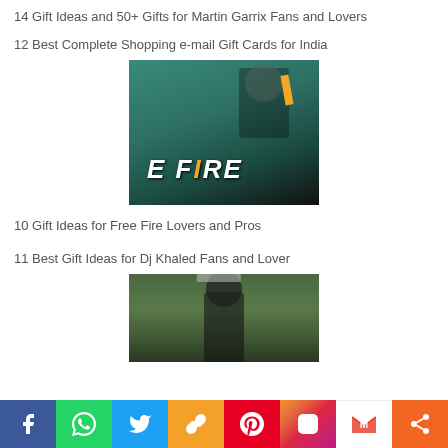14 Gift Ideas and 50+ Gifts for Martin Garrix Fans and Lovers
12 Best Complete Shopping e-mail Gift Cards for India
[Figure (photo): Free Fire game cover art showing a character with tactical gear and the text 'E FIRE' visible]
10 Gift Ideas for Free Fire Lovers and Pros
11 Best Gift Ideas for Dj Khaled Fans and Lover
[Figure (photo): Person wearing a cap standing in a forest/outdoor setting]
Facebook | WhatsApp | Twitter | Link | Pinterest | Instagram | Gmail | Share